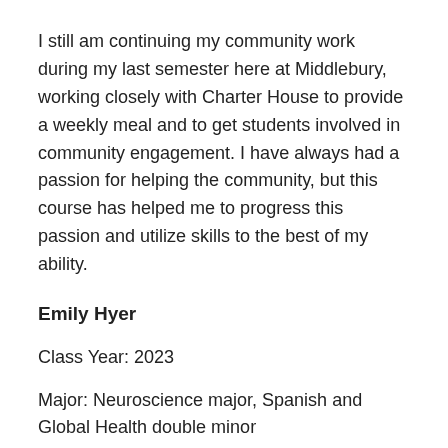I still am continuing my community work during my last semester here at Middlebury, working closely with Charter House to provide a weekly meal and to get students involved in community engagement. I have always had a passion for helping the community, but this course has helped me to progress this passion and utilize skills to the best of my ability.
Emily Hyer
Class Year: 2023
Major: Neuroscience major, Spanish and Global Health double minor
I worked with an organization called the Early Care and Learning Partnership. We researched early child care in Addison County and its relationship to health outcomes and